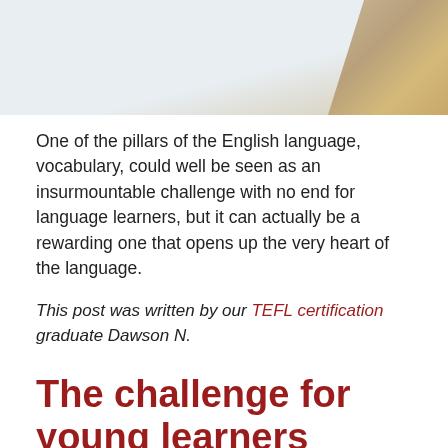[Figure (photo): Partial photo of wooden letter blocks/tiles stacked, with a light blue-white background on the left and wooden tiles on the right.]
One of the pillars of the English language, vocabulary, could well be seen as an insurmountable challenge with no end for language learners, but it can actually be a rewarding one that opens up the very heart of the language.
This post was written by our TEFL certification graduate Dawson N.
The challenge for young learners
With multiple, controversial estimates, putting the number of words a native English speaker knows from around 20,000 active vocabulary words and 40,000 passive